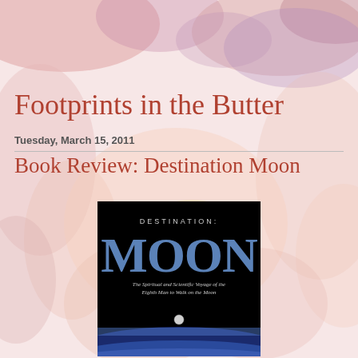[Figure (illustration): Watercolor painting background with soft pink, red, purple, and yellow tones depicting abstract floral or figurative forms]
Footprints in the Butter
Tuesday, March 15, 2011
Book Review: Destination Moon
[Figure (photo): Book cover of 'Destination: Moon' with black background, large blue MOON text, subtitle 'The Spiritual and Scientific Voyage of the Eighth Man to Walk on the Moon', and an image of Earth from space with a small moon visible]